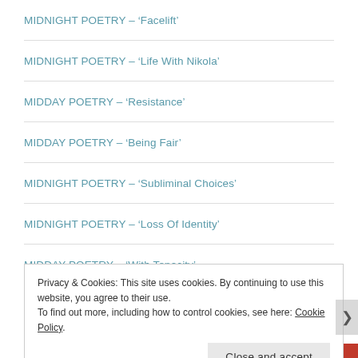MIDNIGHT POETRY – 'Facelift'
MIDNIGHT POETRY – 'Life With Nikola'
MIDDAY POETRY – 'Resistance'
MIDDAY POETRY – 'Being Fair'
MIDNIGHT POETRY – 'Subliminal Choices'
MIDNIGHT POETRY – 'Loss Of Identity'
MIDDAY POETRY – 'With Tenacity'
Privacy & Cookies: This site uses cookies. By continuing to use this website, you agree to their use.
To find out more, including how to control cookies, see here: Cookie Policy
Close and accept